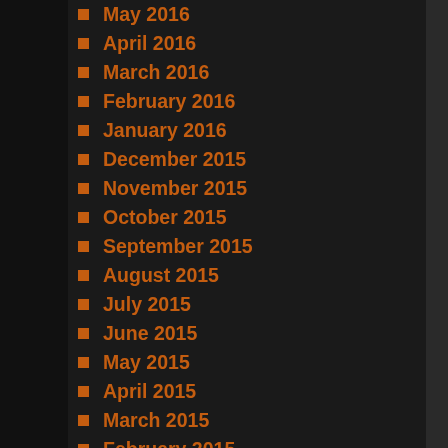May 2016
April 2016
March 2016
February 2016
January 2016
December 2015
November 2015
October 2015
September 2015
August 2015
July 2015
June 2015
May 2015
April 2015
March 2015
February 2015
January 2015
December 2014
November 2014
October 2014
September 2014